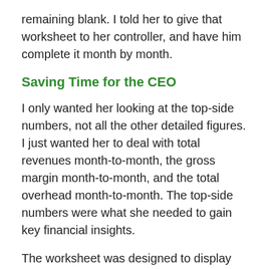remaining blank. I told her to give that worksheet to her controller, and have him complete it month by month.
Saving Time for the CEO
I only wanted her looking at the top-side numbers, not all the other detailed figures. I just wanted her to deal with total revenues month-to-month, the gross margin month-to-month, and the total overhead month-to-month. The top-side numbers were what she needed to gain key financial insights.
The worksheet was designed to display the actual numbers reported and the numbers that had been budgeted for the month. She had 25 different operating units, all of them captured in columns on her spreadsheet. She could skim across those 25 columns and quickly see how her company was